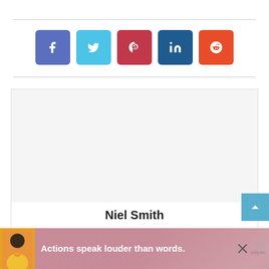[Figure (infographic): Row of five social media share buttons: Facebook (purple-blue), Twitter (light blue), Pinterest (red), LinkedIn (dark blue), Reddit (orange-red)]
Niel Smith
I am a technologist with years of experience with Apple and wearOS products and have a Bachelor's degree in Computer Science. In my day job, I advise fortune 500 companies with
[Figure (infographic): Advertisement banner at the bottom of the page showing a person and the text 'Actions speak louder than words.' with a close (X) button and a logo on the right.]